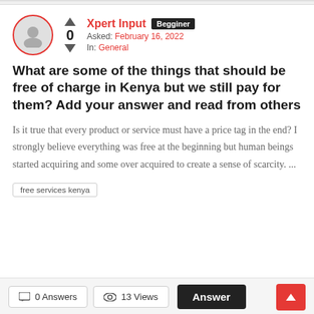Xpert Input  Begginer  Asked: February 16, 2022  In: General
What are some of the things that should be free of charge in Kenya but we still pay for them? Add your answer and read from others
Is it true that every product or service must have a price tag in the end? I strongly believe everything was free at the beginning but human beings started acquiring and some over acquired to create a sense of scarcity. ...
free services kenya
0 Answers  13 Views  Answer